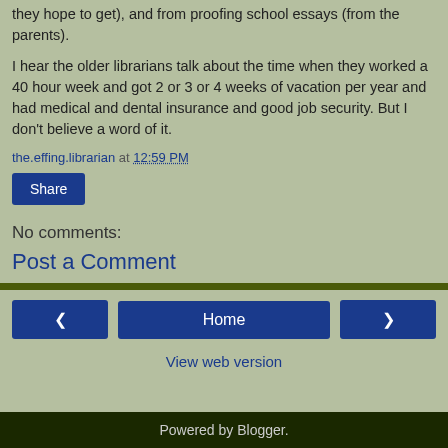they hope to get), and from proofing school essays (from the parents).
I hear the older librarians talk about the time when they worked a 40 hour week and got 2 or 3 or 4 weeks of vacation per year and had medical and dental insurance and good job security. But I don't believe a word of it.
the.effing.librarian at 12:59 PM
Share
No comments:
Post a Comment
Home
View web version
Powered by Blogger.